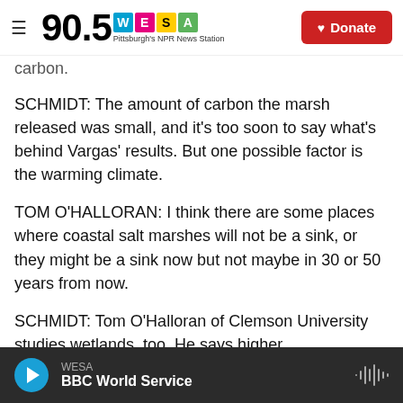90.5 WESA – Pittsburgh's NPR News Station | Donate
carbon.
SCHMIDT: The amount of carbon the marsh released was small, and it's too soon to say what's behind Vargas' results. But one possible factor is the warming climate.
TOM O'HALLORAN: I think there are some places where coastal salt marshes will not be a sink, or they might be a sink now but not maybe in 30 or 50 years from now.
SCHMIDT: Tom O'Halloran of Clemson University studies wetlands, too. He says higher
WESA – BBC World Service